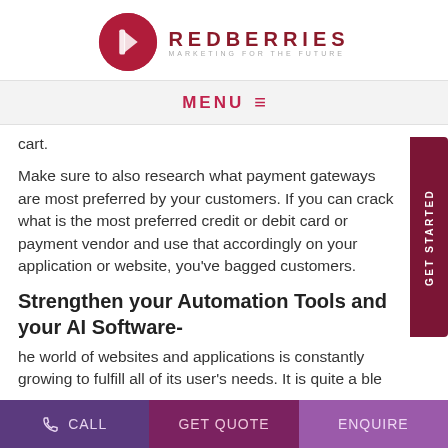[Figure (logo): Redberries logo with dark red circular emblem and text REDBERRIES MARKETING FOR THE FUTURE]
MENU ≡
cart.
Make sure to also research what payment gateways are most preferred by your customers. If you can crack what is the most preferred credit or debit card or payment vendor and use that accordingly on your application or website, you've bagged customers.
Strengthen your Automation Tools and your AI Software-
he world of websites and applications is constantly growing to fulfill all of its user's needs. It is quite a ble